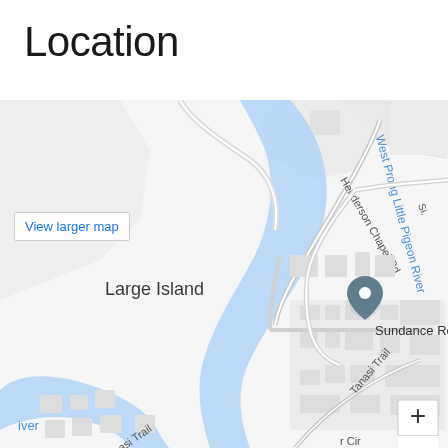Location
[Figure (map): Google Maps view showing West Prong Little Pigeon River, Large Island area, Sundance Realty location marker, Henderson Chapel Rd, Tanasi Trail, and surrounding streets in a residential area.]
View larger map